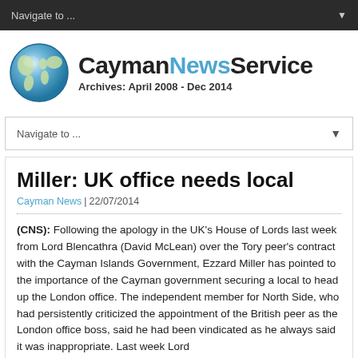Navigate to ...
[Figure (logo): CaymanNewsService logo with globe icon and text 'CaymanNewsService Archives: April 2008 - Dec 2014']
Navigate to ...
Miller: UK office needs local
Cayman News | 22/07/2014
(CNS): Following the apology in the UK's House of Lords last week from Lord Blencathra (David McLean) over the Tory peer's contract with the Cayman Islands Government, Ezzard Miller has pointed to the importance of the Cayman government securing a local to head up the London office. The independent member for North Side, who had persistently criticized the appointment of the British peer as the London office boss, said he had been vindicated as he always said it was inappropriate. Last week Lord